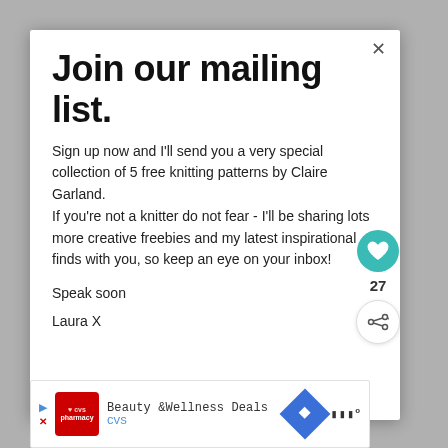Join our mailing list.
Sign up now and I'll send you a very special collection of 5 free knitting patterns by Claire Garland.
If you're not a knitter do not fear - I'll be sharing lots more creative freebies and my latest inspirational finds with you, so keep an eye on your inbox!
Speak soon
Laura X
[Figure (other): Teal heart button with count 27 and white share button]
[Figure (other): CVS Beauty & Wellness Deals advertisement banner]